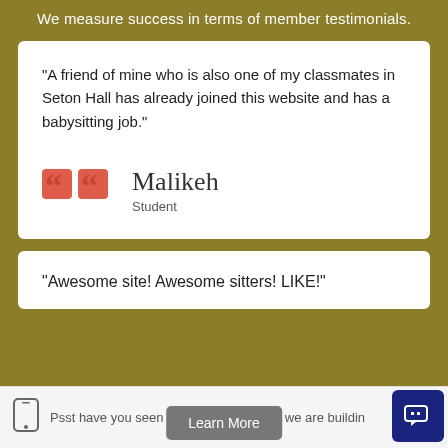We measure success in terms of member testimonials.
“A friend of mine who is also one of my classmates in Seton Hall has already joined this website and has a babysitting job.”
[Figure (illustration): Red quotation mark icon block (two red rounded squares forming a double-quote symbol)]
Malikeh
Student
“Awesome site! Awesome sitters! LIKE!”
Psst have you seen the mobile platform we are building  Learn More